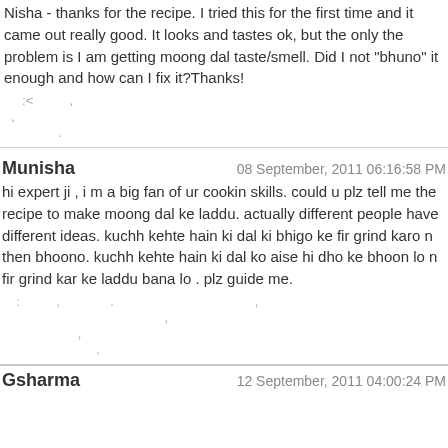Nisha - thanks for the recipe. I tried this for the first time and it came out really good. It looks and tastes ok, but the only the problem is I am getting moong dal taste/smell. Did I not "bhuno" it enough and how can I fix it?Thanks!
:< ,
,
.
Munisha | 08 September, 2011 06:16:58 PM
hi expert ji , i m a big fan of ur cookin skills. could u plz tell me the recipe to make moong dal ke laddu. actually different people have different ideas. kuchh kehte hain ki dal ki bhigo ke fir grind karo n then bhoono. kuchh kehte hain ki dal ko aise hi dho ke bhoon lo n fir grind kar ke laddu bana lo . plz guide me.
: , . ,
,
,
.
Gsharma | 12 September, 2011 04:00:24 PM